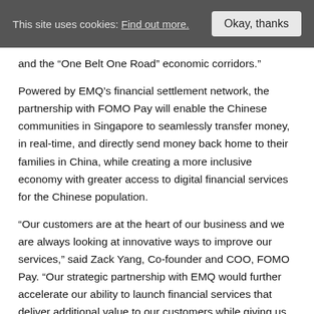This site uses cookies: Find out more.   Okay, thanks
and the “One Belt One Road” economic corridors.”
Powered by EMQ’s financial settlement network, the partnership with FOMO Pay will enable the Chinese communities in Singapore to seamlessly transfer money, in real-time, and directly send money back home to their families in China, while creating a more inclusive economy with greater access to digital financial services for the Chinese population.
“Our customers are at the heart of our business and we are always looking at innovative ways to improve our services,” said Zack Yang, Co-founder and COO, FOMO Pay. “Our strategic partnership with EMQ would further accelerate our ability to launch financial services that deliver additional value to our customers while giving us the competitive advantage to expand our business into new markets. We look forward to